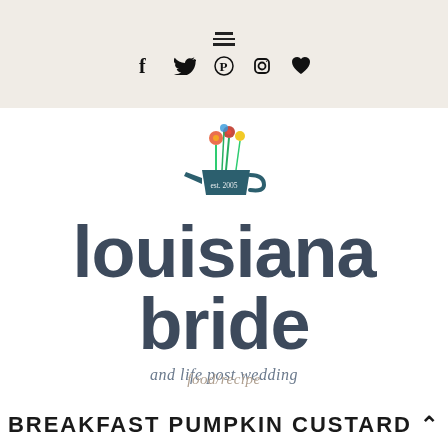≡  f  𝕥  𝕡  📷  ♥
[Figure (logo): Louisiana Bride logo: watering can with colorful flowers, 'est. 2005', large bold text 'LOUISIANA BRIDE', italic subtitle 'and life post wedding']
food/recipe
BREAKFAST PUMPKIN CUSTARD